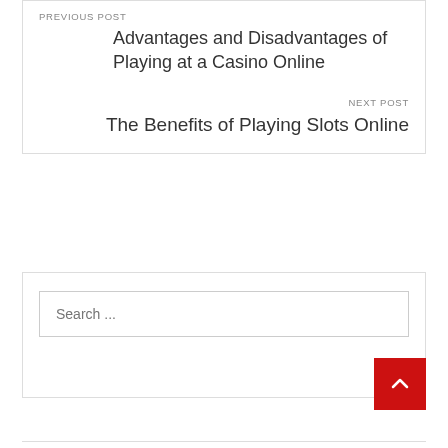PREVIOUS POST
Advantages and Disadvantages of Playing at a Casino Online
NEXT POST
The Benefits of Playing Slots Online
Search ...